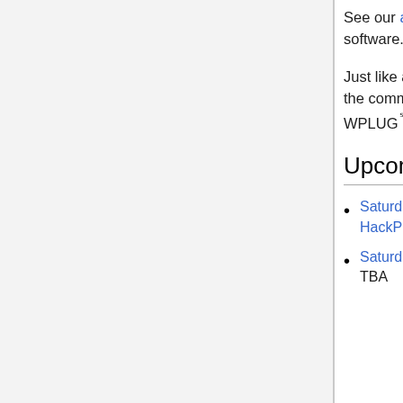See our about page for more background on us, Linux, and free/open source software.
Just like an open source software project, we develop WPLUG in collaboration with the community: everyone is free to contribute. What does Western PA need out of WPLUG℠? What do you need out of WPLUG? Join our mailing list and tell us!
Upcoming Meetings & Events
Saturday, April 11, 2015 - 3:00 to 5:00pm - General User Meeting at HackPittsburgh - Topic: Hackathon
Saturday, May 23, 2015 - 3:00 to 5:00pm - General User Meeting at TBA - Topic: TBA